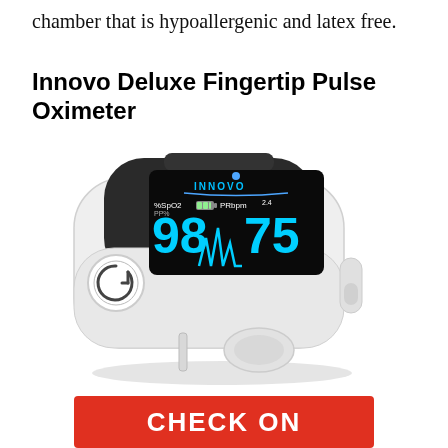chamber that is hypoallergenic and latex free.
Innovo Deluxe Fingertip Pulse Oximeter
[Figure (photo): Photo of the Innovo Deluxe Fingertip Pulse Oximeter device, white plastic body with black OLED display showing SpO2 98%, PR 75 bpm, and a pulse waveform. Device has a circular power/menu button on left side and a spring-loaded finger clamp mechanism on the right.]
CHECK ON